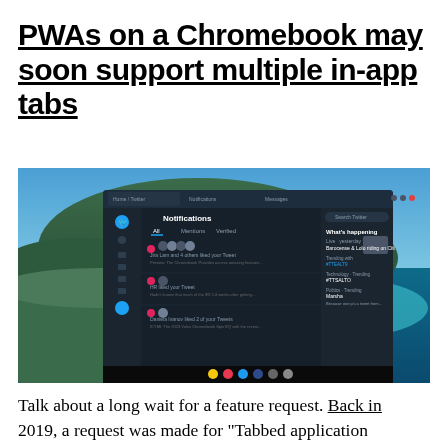PWAs on a Chromebook may soon support multiple in-app tabs
[Figure (screenshot): Screenshot of a Chromebook desktop showing Twitter PWA open with multiple tabs in the app window, displaying Notifications panel with various tweets, against a scenic island/ocean background wallpaper]
Talk about a long wait for a feature request. Back in 2019, a request was made for “Tabbed application